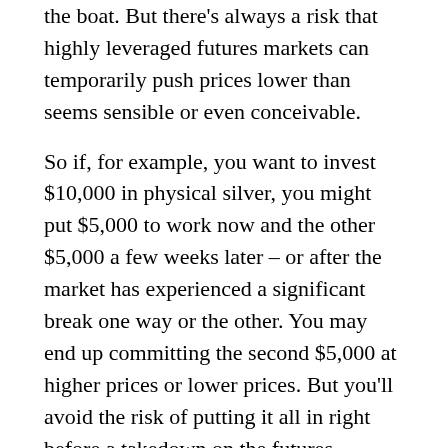the boat. But there's always a risk that highly leveraged futures markets can temporarily push prices lower than seems sensible or even conceivable.
So if, for example, you want to invest $10,000 in physical silver, you might put $5,000 to work now and the other $5,000 a few weeks later – or after the market has experienced a significant break one way or the other. You may end up committing the second $5,000 at higher prices or lower prices. But you'll avoid the risk of putting it all in right before a takedown on the futures exchange.
The biggest risk? Well, that may be the risk of not getting into the precious metals market at all. In any market – whether it's silver or stocks or real estate – the best bargains tend to come when the charts look the scariest and sentiment is most negative. We're near that point of maximum pessimism on silver, if we haven't already passed it. And while results don't...